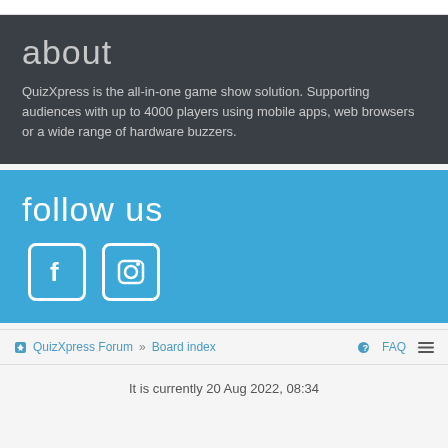about
QuizXpress is the all-in-one game show solution. Supporting audiences with up to 4000 players using mobile apps, web browsers or a wide range of hardware buzzers.
follow us
[Figure (infographic): Facebook icon (white f in white-bordered rounded square) and Instagram icon (white camera in white-bordered rounded square) on blue background]
QuizXpress Forum » Board index   FAQ
It is currently 20 Aug 2022, 08:34